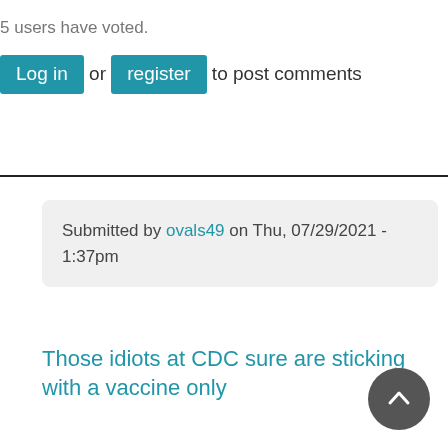5 users have voted.
Log in or register to post comments
Submitted by ovals49 on Thu, 07/29/2021 - 1:37pm
Those idiots at CDC sure are sticking with a vaccine only
@on the cusp
policy. Many would prefer other treatment options beside an endless stream of experimental vaccines and boosters with relatively short term efficacy and unknown long